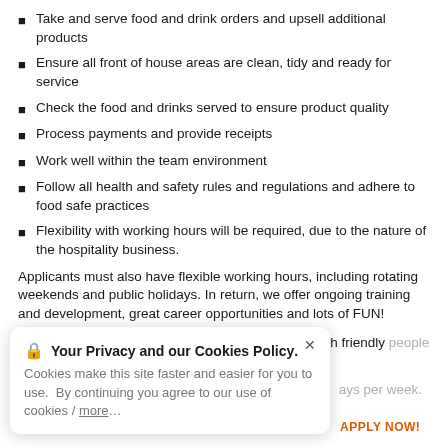Take and serve food and drink orders and upsell additional products
Ensure all front of house areas are clean, tidy and ready for service
Check the food and drinks served to ensure product quality
Process payments and provide receipts
Work well within the team environment
Follow all health and safety rules and regulations and adhere to food safe practices
Flexibility with working hours will be required, due to the nature of the hospitality business.
Applicants must also have flexible working hours, including rotating weekends and public holidays. In return, we offer ongoing training and development, great career opportunities and lots of FUN!
If you think you have the skills and enjoy working with friendly people and great food in a fun, fast-paced atmosphere, then we
ays per week.
APPLY NOW!
Your Privacy and our Cookies Policy. Cookies make this site faster and easier for you to use. By continuing you agree to our use of cookies / more...